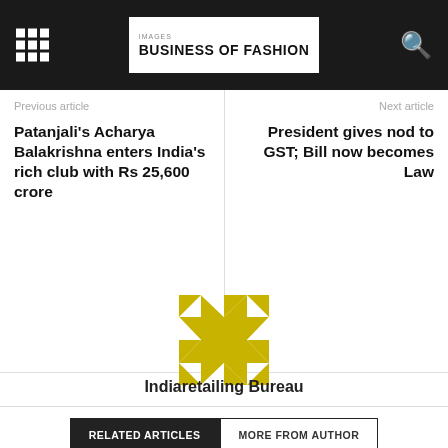Images Business of Fashion
Previous article
Patanjali’s Acharya Balakrishna enters India’s rich club with Rs 25,600 crore
Next article
President gives nod to GST; Bill now becomes Law
[Figure (logo): Indiaretailing Bureau geometric quilt logo in gold/yellow]
Indiaretailing Bureau
RELATED ARTICLES  MORE FROM AUTHOR